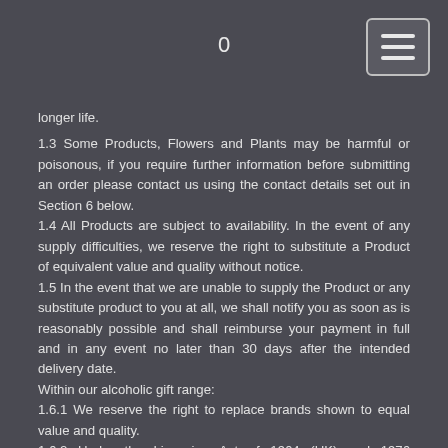0
longer life.
1.3 Some Products, Flowers and Plants may be harmful or poisonous, if you require further information before submitting an order please contact us using the contact details set out in Section 6 below.
1.4 All Products are subject to availability. In the event of any supply difficulties, we reserve the right to substitute a Product of equivalent value and quality without notice.
1.5 In the event that we are unable to supply the Product or any substitute product to you at all, we shall notify you as soon as is reasonably possible and shall reimburse your payment in full and in any event no later than 30 days after the intended delivery date.
Within our alcoholic gift range:
1.6.1 We reserve the right to replace brands shown to equal value and quality.
1.6.2 Under the Licensing Act of 1964 (UK) and 1976 (Scotland) it is an offence for any person under 18 years to buy, or attempt to buy, alcoholic liquor. It is an offence under sections 32 and 33 of the intoxicating Liquor Act 1988 (Ireland) for any person under 18 to buy, or attempt to buy, intoxicating liquor. It is an offence under Licensing (Northern Ireland) Order 1990 for any person under 18 to buy, or attempt to buy, intoxicating liquor.